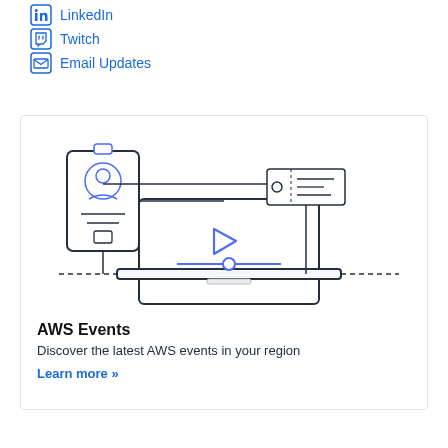LinkedIn
Twitch
Email Updates
[Figure (illustration): AWS Events illustration showing a laptop with a credential badge, play button, slider control, and a ticket, connected by lines, representing online event registration or streaming.]
AWS Events
Discover the latest AWS events in your region
Learn more »